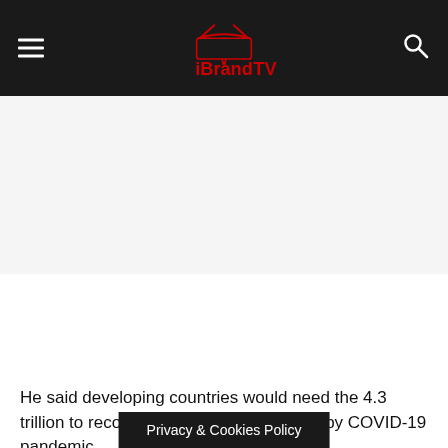iBrandTV
[Figure (other): Advertisement or empty content area placeholder]
He said developing countries would need the 4.3 trillion to recover from the crises caused by COVID-19 pandemic.
ECOSOC is one of the six and the pandemic is unfolding du
Privacy & Cookies Policy